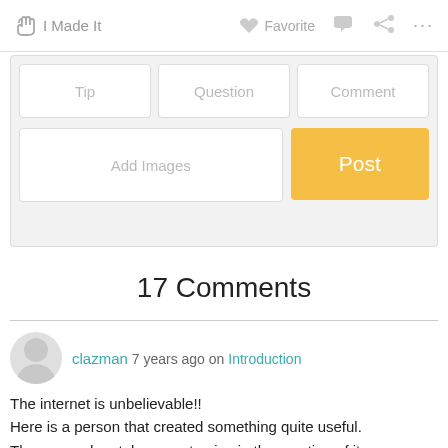I Made It | Favorite
[Figure (screenshot): UI form with Tip, Question, Comment tabs, Add Images button, and yellow Post button]
17 Comments
clazman 7 years ago on Introduction
The internet is unbelievable!!
Here is a person that created something quite useful.
The person has taken great pains in the creation of item.
Besides all of this care the project has been perfectly